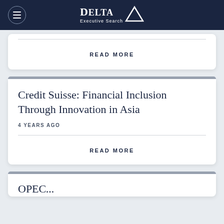Delta Executive Search
READ MORE
Credit Suisse: Financial Inclusion Through Innovation in Asia
4 YEARS AGO
READ MORE
OPEC...